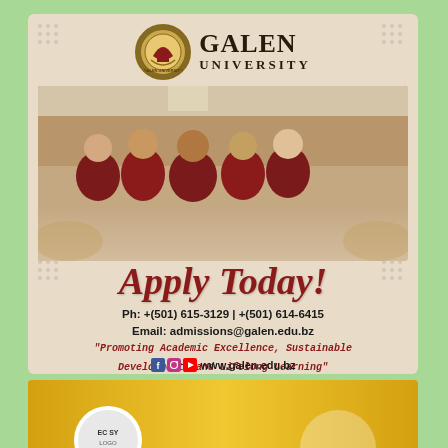[Figure (logo): Galen University circular crest/shield logo with gold and maroon colors, next to the text GALEN UNIVERSITY]
[Figure (photo): Group photo of five smiling students wearing maroon Galen University polo shirts with lanyards, posing together indoors in a hallway]
Apply Today!
Ph: +(501) 615-3129 | +(501) 614-6415
Email: admissions@galen.edu.bz
"Promoting Academic Excellence, Sustainable Development, and Lifelong Learning"
www.galen.edu.bz
[Figure (photo): Bottom yellow/gold banner partially visible with a circular logo]